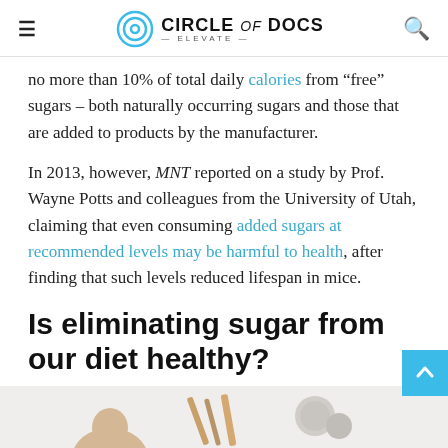Circle of Docs — Elevate
no more than 10% of total daily calories from "free" sugars – both naturally occurring sugars and those that are added to products by the manufacturer.
In 2013, however, MNT reported on a study by Prof. Wayne Potts and colleagues from the University of Utah, claiming that even consuming added sugars at recommended levels may be harmful to health, after finding that such levels reduced lifespan in mice.
Is eliminating sugar from our diet healthy?
[Figure (photo): Partial image showing a person and food items at the bottom of the page]